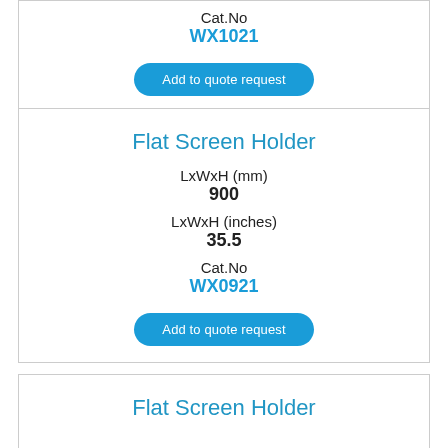Cat.No
WX1021
Add to quote request
Flat Screen Holder
LxWxH (mm)
900
LxWxH (inches)
35.5
Cat.No
WX0921
Add to quote request
Flat Screen Holder